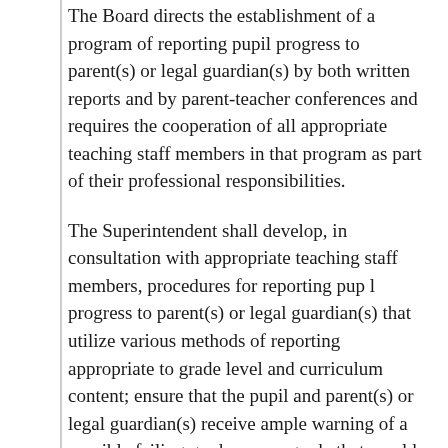The Board directs the establishment of a program of reporting pupil progress to parent(s) or legal guardian(s) by both written reports and by parent-teacher conferences and requires the cooperation of all appropriate teaching staff members in that program as part of their professional responsibilities.
The Superintendent shall develop, in consultation with appropriate teaching staff members, procedures for reporting pup l progress to parent(s) or legal guardian(s) that utilize various methods of reporting appropriate to grade level and curriculum content; ensure that the pupil and parent(s) or legal guardian(s) receive ample warning of a possible failing grade or any grade that would adversely affect the pupil's educational status; enable the scheduling of parent-teacher conferences at such times as will ensure the greatest degree of participation by parent(s) or legal guardian(s); and require the issuance of report cards at intervals of not less than